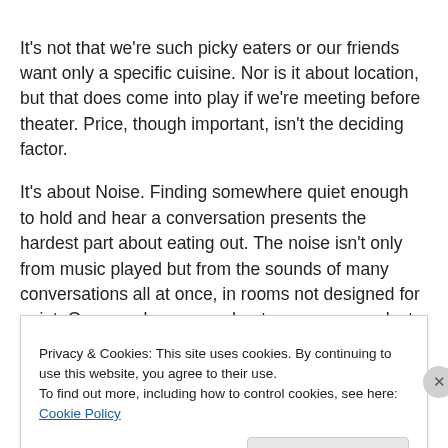It's not that we're such picky eaters or our friends want only a specific cuisine. Nor is it about location, but that does come into play if we're meeting before theater. Price, though important, isn't the deciding factor.
It's about Noise. Finding somewhere quiet enough to hold and hear a conversation presents the hardest part about eating out. The noise isn't only from music played but from the sounds of many conversations all at once, in rooms not designed for quiet. One couple we see about once a year select a restaurant where they can book a specific
Privacy & Cookies: This site uses cookies. By continuing to use this website, you agree to their use.
To find out more, including how to control cookies, see here: Cookie Policy